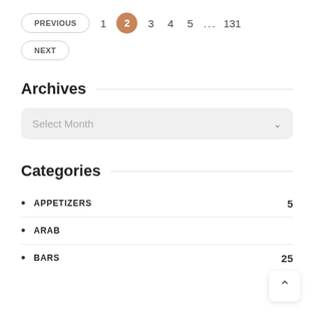PREVIOUS  1  2  3  4  5  ...  131
NEXT
Archives
Select Month
Categories
APPETIZERS  5
ARAB
BARS  25